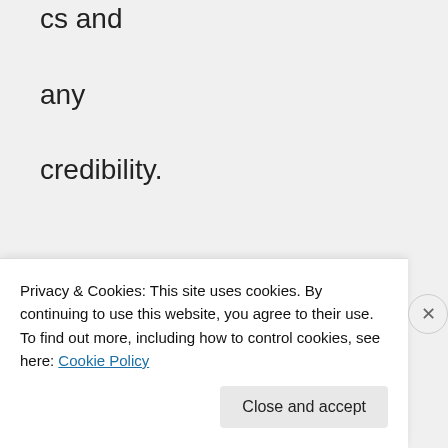cs and any credibility.
↪ Reply
[Figure (other): User avatar circle with person silhouette icon]
Mar
Privacy & Cookies: This site uses cookies. By continuing to use this website, you agree to their use. To find out more, including how to control cookies, see here: Cookie Policy
Close and accept